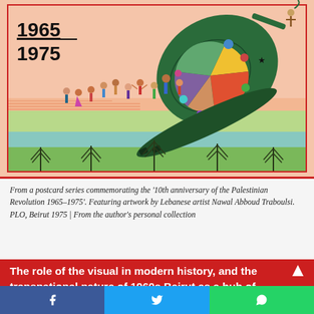[Figure (illustration): Artwork from a postcard series commemorating the 10th anniversary of the Palestinian Revolution 1965-1975. Shows a large decorated green tank tipping over, with small figures of children beneath it. Colorful folk-art style illustration with trees, fields, and landscape. Numbers '1965' and '1975' visible in bold black text on the left side of the image. Red border around the illustration.]
From a postcard series commemorating the '10th anniversary of the Palestinian Revolution 1965–1975'. Featuring artwork by Lebanese artist Nawal Abboud Traboulsi. PLO, Beirut 1975 | From the author's personal collection
The role of the visual in modern history, and the transnational nature of 1960s Beirut as a hub of